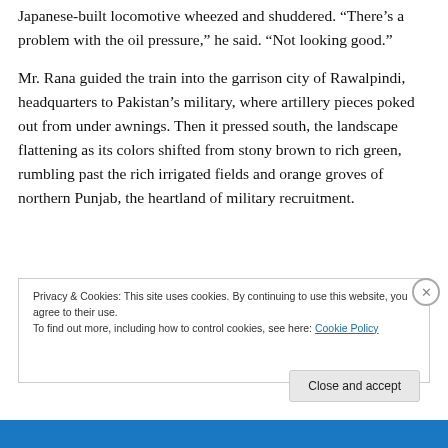Japanese-built locomotive wheezed and shuddered. “There’s a problem with the oil pressure,” he said. “Not looking good.”
Mr. Rana guided the train into the garrison city of Rawalpindi, headquarters to Pakistan’s military, where artillery pieces poked out from under awnings. Then it pressed south, the landscape flattening as its colors shifted from stony brown to rich green, rumbling past the rich irrigated fields and orange groves of northern Punjab, the heartland of military recruitment.
Privacy & Cookies: This site uses cookies. By continuing to use this website, you agree to their use.
To find out more, including how to control cookies, see here: Cookie Policy